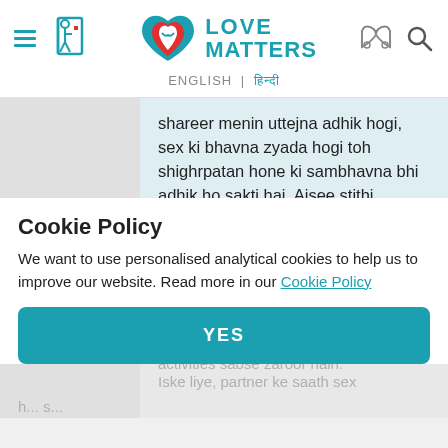[Figure (logo): Love Matters logo with teal heart and text LOVE MATTERS]
ENGLISH | हिन्दी
shareer menin uttejna adhik hogi, sex ki bhavna zyada hogi toh shighrpatan hone ki sambhavna bhi adhik ho sakti hai. Aisee stithi mein, partner par focus badhana, foreplay.. pravesh karne se pehle bahut se alag alag kriyaein karna, jaise ki partner ko utejna aur sab activities sabse zaroor hain. Iske liye, partner ke saath sex h... s...
Cookie Policy
We want to use personalised analytical cookies to help us to improve our website. Read more in our Cookie Policy
YES